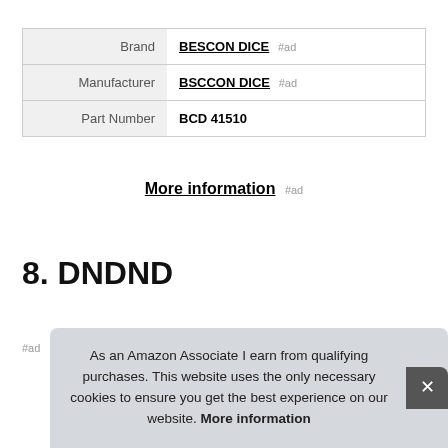|  |  |
| --- | --- |
| Brand | BESCON DICE #ad |
| Manufacturer | BSCCON DICE #ad |
| Part Number | BCD 41510 |
More information #ad
8. DNDND
#ad
As an Amazon Associate I earn from qualifying purchases. This website uses the only necessary cookies to ensure you get the best experience on our website. More information